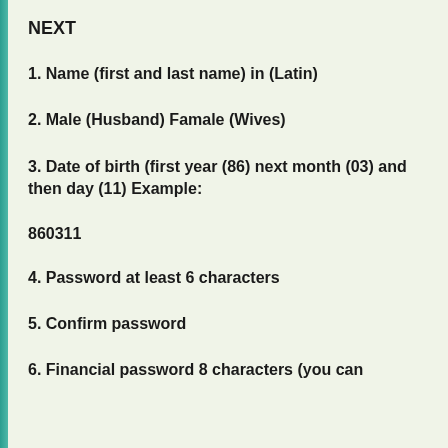NEXT
1. Name (first and last name) in (Latin)
2. Male (Husband) Famale (Wives)
3. Date of birth (first year (86) next month (03) and then day (11) Example:
860311
4. Password at least 6 characters
5. Confirm password
6. Financial password 8 characters (you can